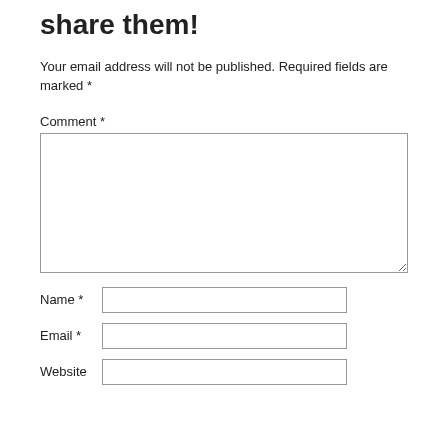share them!
Your email address will not be published. Required fields are marked *
Comment *
Name *
Email *
Website